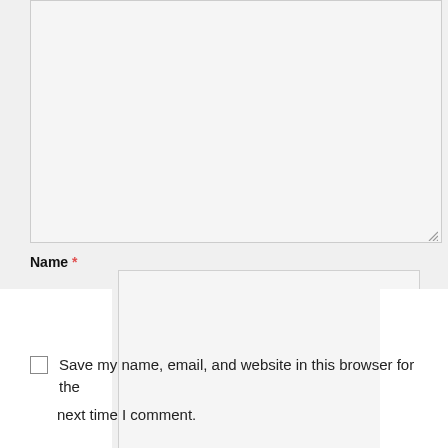Name *
l *
site
PREVIOUS POST
NEXT POST
Save my name, email, and website in this browser for the next time I comment.